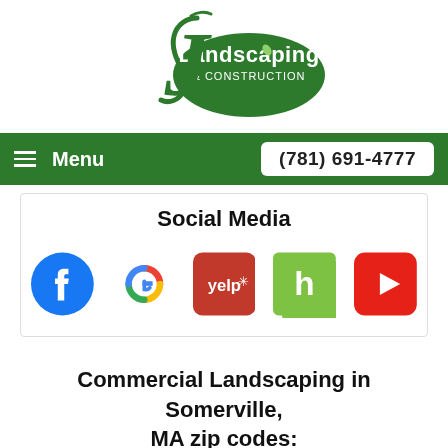[Figure (logo): J Landscaping & Construction logo — green oval with white text and decorative J with leaf]
Menu    (781) 691-4777
Social Media
[Figure (infographic): Row of 5 social media icons: Facebook, Google, Yelp, Houzz, YouTube]
Commercial Landscaping in Somerville, MA zip codes: